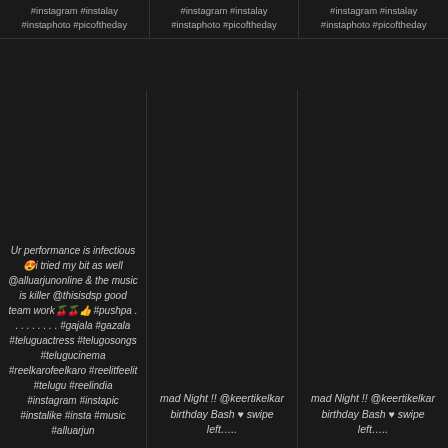#instagram #instalay #instaphoto #picoftheday
#instagram #instalay #instaphoto #picoftheday
#instagram #instalay #instaphoto #picoftheday
Ur performance is infectious 😍i tried my bit as well @alluarjunonline & the music is killer @thisisdsp good team work🍒🍒👍 #pushpa . . . . . . . . . #gajala #gazala #teluguactress #telugusongs #telugucinema #reelkarofeelkaro #reelitfeelit #telugu #reelindia #instagram #instapic #instalike #insta #music #alluarjun
mad Night !! @keertikelkar birthday Bash ♥ swipe left…..
mad Night !! @keertikelkar birthday Bash ♥ swipe left…..